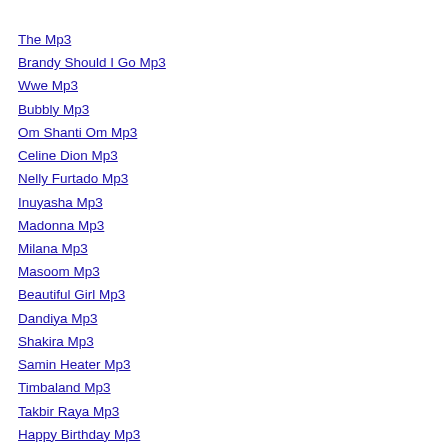The Mp3
Brandy Should I Go Mp3
Wwe Mp3
Bubbly Mp3
Om Shanti Om Mp3
Celine Dion Mp3
Nelly Furtado Mp3
Inuyasha Mp3
Madonna Mp3
Milana Mp3
Masoom Mp3
Beautiful Girl Mp3
Dandiya Mp3
Shakira Mp3
Samin Heater Mp3
Timbaland Mp3
Takbir Raya Mp3
Happy Birthday Mp3
Bhulbhulaiya Mp3
Hare Ram Mp3
Tamil Mp3
Avril Lavigne Mp3
Mika Mp3